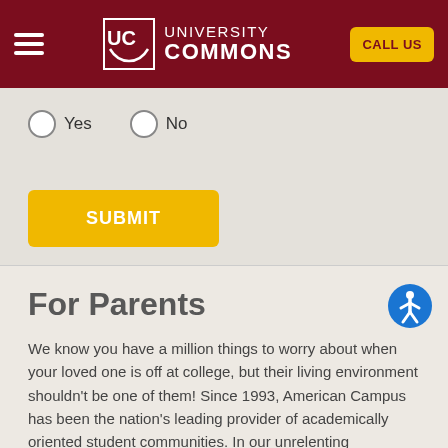University Commons — CALL US
Yes  No
SUBMIT
For Parents
We know you have a million things to worry about when your loved one is off at college, but their living environment shouldn't be one of them! Since 1993, American Campus has been the nation's leading provider of academically oriented student communities. In our unrelenting commitment to students, we give your student the college experience they want and the academic environment they need to succeed - not just in school, but also in life. Whether their academic pursuits are